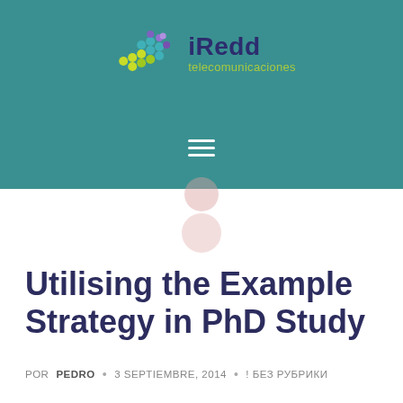[Figure (logo): iRedd telecomunicaciones logo with colorful dot pattern on teal background header]
Utilising the Example Strategy in PhD Study
POR PEDRO · 3 SEPTIEMBRE, 2014 · ! БЕЗ РУБРИКИ